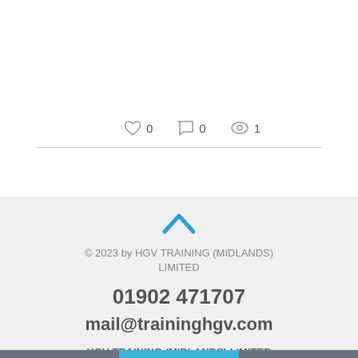[Figure (infographic): Social engagement icons: heart icon with count 0, comment bubble icon with count 0, eye/view icon with count 1]
© 2023 by HGV TRAINING (MIDLANDS) LIMITED
01902 471707
mail@traininghgv.com
HGV TRAINING (MIDLANDS) LIMITED
ERA SITE BAY 8, WILLENHALL, WV12 51U